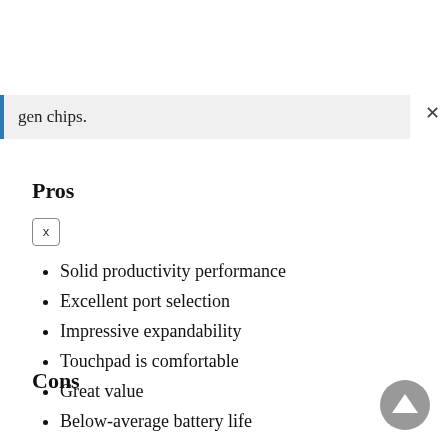gen chips.
Pros
Solid productivity performance
Excellent port selection
Impressive expandability
Touchpad is comfortable
Great value
Cons
Below-average battery life